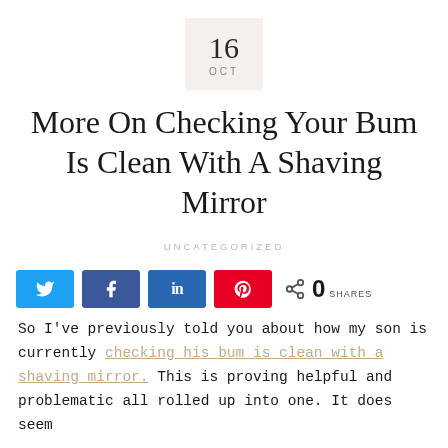16 OCT
More On Checking Your Bum Is Clean With A Shaving Mirror
UNCATEGORIZED
[Figure (other): Social share bar with Twitter, Facebook, LinkedIn, Pinterest buttons and 0 SHARES count]
So I've previously told you about how my son is currently checking his bum is clean with a shaving mirror. This is proving helpful and problematic all rolled up into one. It does seem